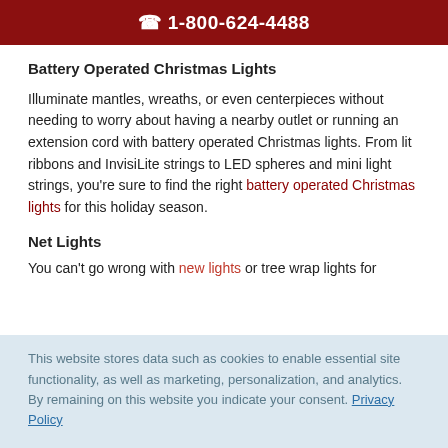☎ 1-800-624-4488
Battery Operated Christmas Lights
Illuminate mantles, wreaths, or even centerpieces without needing to worry about having a nearby outlet or running an extension cord with battery operated Christmas lights. From lit ribbons and InvisiLite strings to LED spheres and mini light strings, you're sure to find the right battery operated Christmas lights for this holiday season.
Net Lights
You can't go wrong with new lights or tree wrap lights for
This website stores data such as cookies to enable essential site functionality, as well as marketing, personalization, and analytics. By remaining on this website you indicate your consent. Privacy Policy